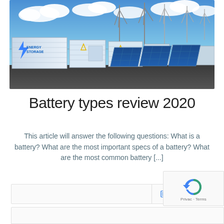[Figure (photo): Industrial energy storage containers with lightning bolt logo labeled 'ENERGY STORAGE', solar panels, wind turbines, and blue sky with clouds in background.]
Battery types review 2020
This article will answer the following questions: What is a battery? What are the most important specs of a battery? What are the most common battery […]
Read more